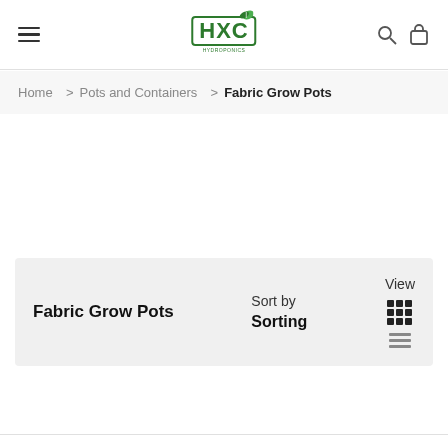[Figure (logo): HXC logo with green border and leaf icon, subtitle text below]
Home  >  Pots and Containers  >  Fabric Grow Pots
Fabric Grow Pots
Sort by
Sorting
View